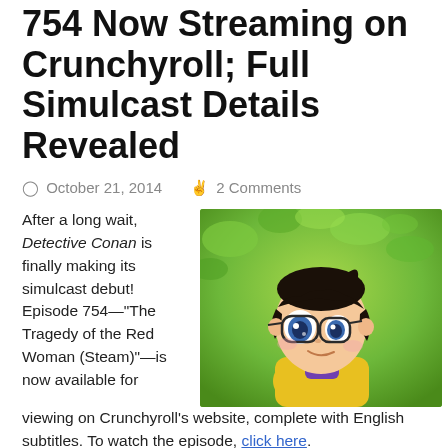754 Now Streaming on Crunchyroll; Full Simulcast Details Revealed
October 21, 2014   2 Comments
After a long wait, Detective Conan is finally making its simulcast debut! Episode 754—"The Tragedy of the Red Woman (Steam)"—is now available for viewing on Crunchyroll's website, complete with English subtitles. To watch the episode, click here.
[Figure (illustration): Anime illustration of Detective Conan (Conan Edogawa) character looking sideways, with green foliage background]
New episodes will be added every Tuesday at 3:00 PM EDT. Detective Conan episodes on the website are